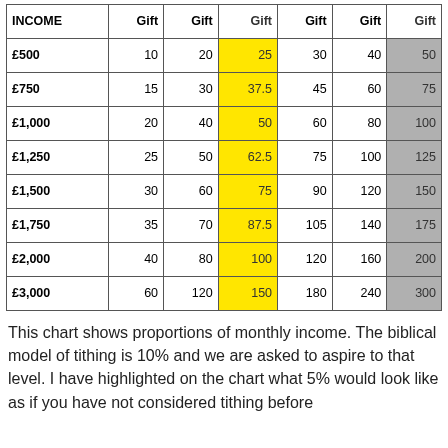| INCOME | Gift | Gift | Gift | Gift | Gift | Gift |
| --- | --- | --- | --- | --- | --- | --- |
| £500 | 10 | 20 | 25 | 30 | 40 | 50 |
| £750 | 15 | 30 | 37.5 | 45 | 60 | 75 |
| £1,000 | 20 | 40 | 50 | 60 | 80 | 100 |
| £1,250 | 25 | 50 | 62.5 | 75 | 100 | 125 |
| £1,500 | 30 | 60 | 75 | 90 | 120 | 150 |
| £1,750 | 35 | 70 | 87.5 | 105 | 140 | 175 |
| £2,000 | 40 | 80 | 100 | 120 | 160 | 200 |
| £3,000 | 60 | 120 | 150 | 180 | 240 | 300 |
This chart shows proportions of monthly income. The biblical model of tithing is 10% and we are asked to aspire to that level. I have highlighted on the chart what 5% would look like as if you have not considered tithing before